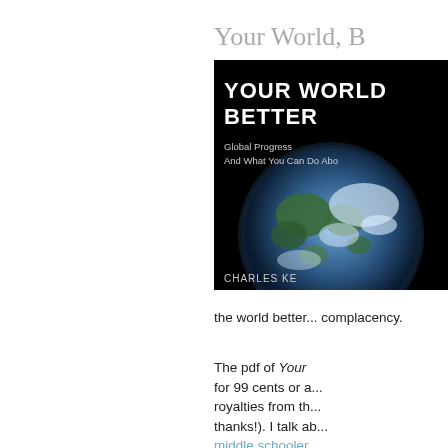Your World, B
[Figure (photo): Book cover of 'Your World Better: Global Progress And What You Can Do Abo...' by Charles Ke... — dark black background with a photo of Earth from space, white bold text title at top, subtitle below, author name at bottom.]
the world better... complacency.
The pdf of Your ... for 99 cents or a... royalties from th... thanks!). I talk ab... middle schooler... discussion abou... video about the...